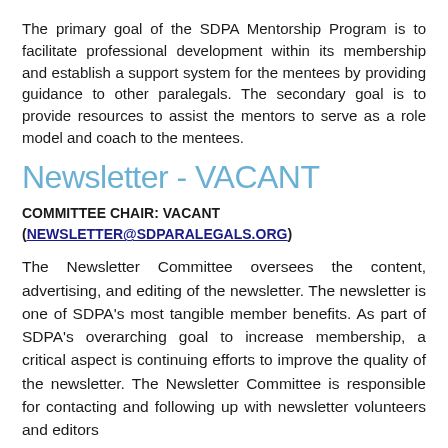The primary goal of the SDPA Mentorship Program is to facilitate professional development within its membership and establish a support system for the mentees by providing guidance to other paralegals. The secondary goal is to provide resources to assist the mentors to serve as a role model and coach to the mentees.
Newsletter - VACANT
COMMITTEE CHAIR: VACANT (NEWSLETTER@SDPARALEGALS.ORG)
The Newsletter Committee oversees the content, advertising, and editing of the newsletter. The newsletter is one of SDPA's most tangible member benefits. As part of SDPA's overarching goal to increase membership, a critical aspect is continuing efforts to improve the quality of the newsletter. The Newsletter Committee is responsible for contacting and following up with newsletter volunteers and editors...